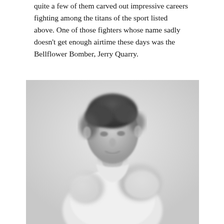quite a few of them carved out impressive careers fighting among the titans of the sport listed above. One of those fighters whose name sadly doesn't get enough airtime these days was the Bellflower Bomber, Jerry Quarry.
[Figure (photo): Black and white photograph of a young male boxer in a fighting stance, wearing boxing gloves, upper body visible, slight smile.]